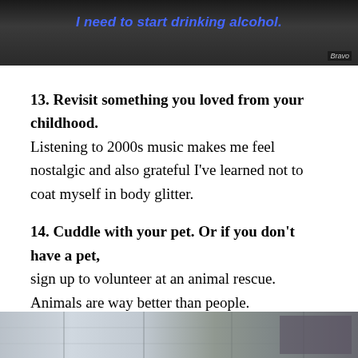[Figure (screenshot): TV screenshot with Bravo network logo in bottom right corner, dark background with a person visible, blue italic text overlay reading 'I need to start drinking alcohol.']
13. Revisit something you loved from your childhood. Listening to 2000s music makes me feel nostalgic and also grateful I've learned not to coat myself in body glitter.
14. Cuddle with your pet. Or if you don't have a pet, sign up to volunteer at an animal rescue. Animals are way better than people.
15. Eat some chocolate. Because, duh.
[Figure (photo): Bottom partial photo showing an outdoor or architectural scene]